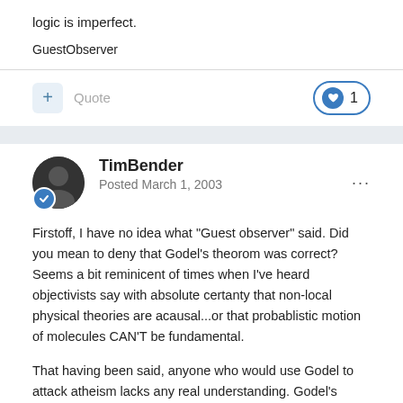logic is imperfect.
GuestObserver
+ Quote
1
TimBender
Posted March 1, 2003
Firstoff, I have no idea what "Guest observer" said. Did you mean to deny that Godel's theorom was correct? Seems a bit reminicent of times when I've heard objectivists say with absolute certanty that non-local physical theories are acausal...or that probablistic motion of molecules CAN'T be fundamental.
That having been said, anyone who would use Godel to attack atheism lacks any real understanding. Godel's theorom says one thing (and it is correct in this), that any axiomatic system that includes arithmetic (so choice of religion comes from a logical